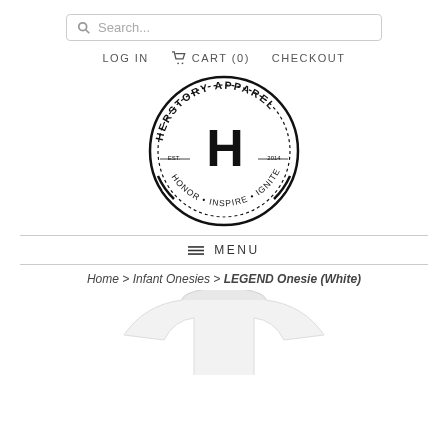Search...
LOG IN   CART (0)   CHECKOUT
[Figure (logo): Herstory Apparel circular logo with large H in center, text 'HERSTORY APPAREL' arched at top, 'EST. 2014' on sides, 'HONOR • INSPIRE • IGNITE' at bottom]
≡ MENU
Home > Infant Onesies > LEGEND Onesie (White)
[Figure (photo): White infant onesie product photo, partially visible at bottom of page]